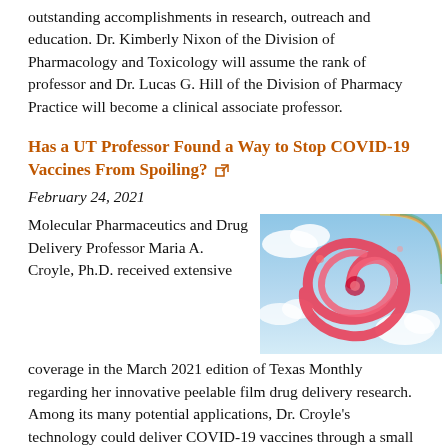outstanding accomplishments in research, outreach and education. Dr. Kimberly Nixon of the Division of Pharmacology and Toxicology will assume the rank of professor and Dr. Lucas G. Hill of the Division of Pharmacy Practice will become a clinical associate professor.
Has a UT Professor Found a Way to Stop COVID-19 Vaccines From Spoiling?
February 24, 2021
[Figure (photo): Illustration of a red/pink ribbon or film strip spiral against a blue sky with clouds background, representing a peelable film drug delivery concept.]
Molecular Pharmaceutics and Drug Delivery Professor Maria A. Croyle, Ph.D. received extensive coverage in the March 2021 edition of Texas Monthly regarding her innovative peelable film drug delivery research. Among its many potential applications, Dr. Croyle's technology could deliver COVID-19 vaccines through a small oral strip, without need for refrigeration or extensive storage and transportation infrastructure.